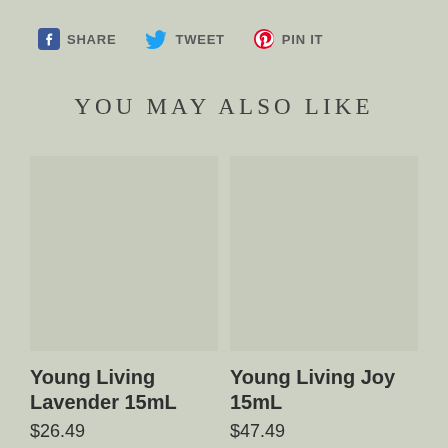SHARE  TWEET  PIN IT
YOU MAY ALSO LIKE
[Figure (photo): Product image placeholder for Young Living Lavender 15mL]
Young Living Lavender 15mL
$26.49
[Figure (photo): Product image placeholder for Young Living Joy 15mL]
Young Living Joy 15mL
$47.49